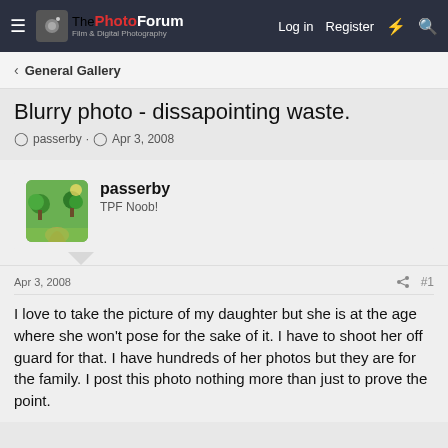ThePhotoForum — Film & Digital Photography | Log in | Register
General Gallery
Blurry photo - dissapointing waste.
passerby · Apr 3, 2008
passerby
TPF Noob!
Apr 3, 2008  #1
I love to take the picture of my daughter but she is at the age where she won't pose for the sake of it. I have to shoot her off guard for that. I have hundreds of her photos but they are for the family. I post this photo nothing more than just to prove the point.